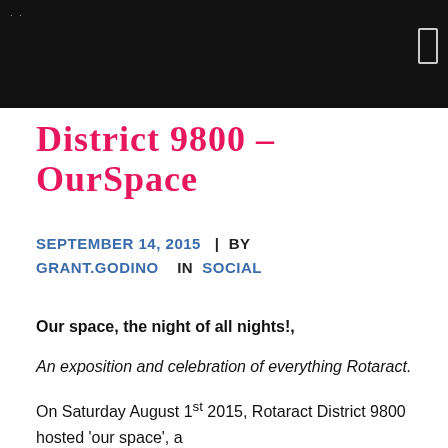District 9800 – OurSpace
District 9800 – OurSpace
SEPTEMBER 14, 2015 | BY GRANT.GODINO IN SOCIAL
Our space, the night of all nights!,
An exposition and celebration of everything Rotaract.
On Saturday August 1st 2015, Rotaract District 9800 hosted 'our space', a